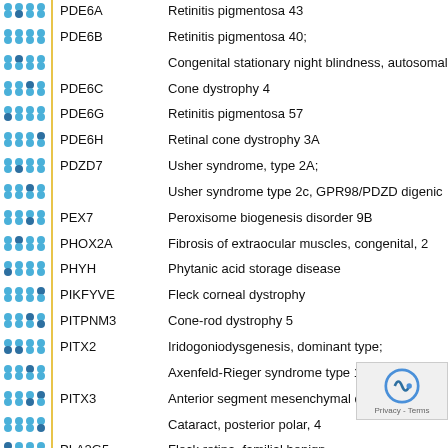|  | Gene | Disease |
| --- | --- | --- |
| dots | PDE6A | Retinitis pigmentosa 43 |
| dots | PDE6B | Retinitis pigmentosa 40; |
| dots |  | Congenital stationary night blindness, autosomal |
| dots | PDE6C | Cone dystrophy 4 |
| dots | PDE6G | Retinitis pigmentosa 57 |
| dots | PDE6H | Retinal cone dystrophy 3A |
| dots | PDZD7 | Usher syndrome, type 2A; |
| dots |  | Usher syndrome type 2c, GPR98/PDZD digenic |
| dots | PEX7 | Peroxisome biogenesis disorder 9B |
| dots | PHOX2A | Fibrosis of extraocular muscles, congenital, 2 |
| dots | PHYH | Phytanic acid storage disease |
| dots | PIKFYVE | Fleck corneal dystrophy |
| dots | PITPNM3 | Cone-rod dystrophy 5 |
| dots | PITX2 | Iridogoniodysgenesis, dominant type; |
| dots |  | Axenfeld-Rieger syndrome type 1; Ring dermoid o |
| dots | PITX3 | Anterior segment mesenchymal dysgenesis; |
| dots |  | Cataract, posterior polar, 4 |
| dots | PLA2G5 | Fleck retina, familial benign |
| dots | POC1B | Cone-rod dystrophy 20 |
| dots | PPT1 | Ceroid lipofuscinosis neuronal 1 |
| dots | PRCD | Retinitis pigmentosa 36 |
| dots | PRDM5 | Brittle cornea syndrome 2 |
| dots | PROM1 | Cone-rod dystrophy 12; Retinitis pigmentosa 41; |